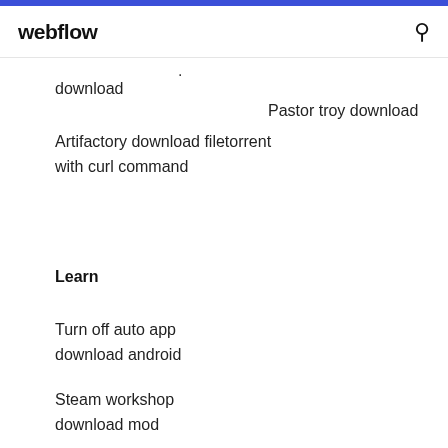webflow
.
download
Pastor troy download
Artifactory download filetorrent with curl command
Learn
Turn off auto app download android
Steam workshop download mod